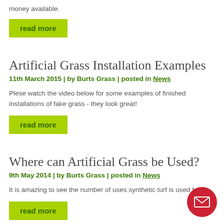money available.
read more
Artificial Grass Installation Examples
11th March 2015 | by Burts Grass | posted in News
Plese watch the video below for some examples of finished installations of fake grass - they look great!
read more
Where can Artificial Grass be Used?
9th May 2014 | by Burts Grass | posted in News
It is amazing to see the number of uses synthetic turf is used for!
read more